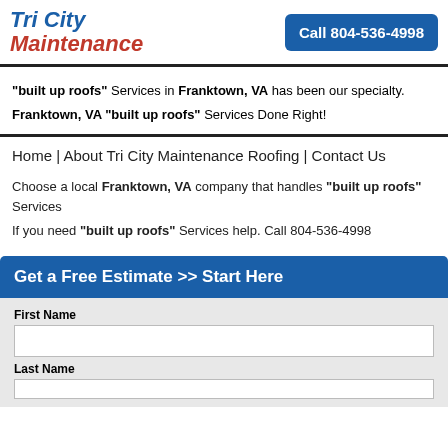Tri City Maintenance | Call 804-536-4998
"built up roofs" Services in Franktown, VA has been our specialty.
Franktown, VA "built up roofs" Services Done Right!
Home | About Tri City Maintenance Roofing | Contact Us
Choose a local Franktown, VA company that handles "built up roofs" Services
If you need "built up roofs" Services help. Call 804-536-4998
Get a Free Estimate >> Start Here
| First Name | Last Name |
| --- | --- |
|  |  |